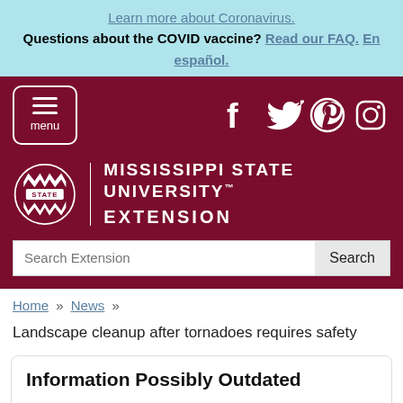Learn more about Coronavirus. Questions about the COVID vaccine? Read our FAQ. En español.
[Figure (screenshot): Mississippi State University Extension website header with menu button, social media icons (Facebook, Twitter, Pinterest, Instagram), MSU logo, and search bar]
Home » News »
Landscape cleanup after tornadoes requires safety
Information Possibly Outdated
The information presented on this page was